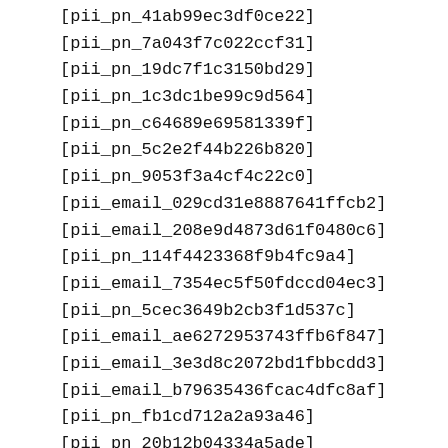[pii_pn_41ab99ec3df0ce22]
[pii_pn_7a043f7c022ccf31]
[pii_pn_19dc7f1c3150bd29]
[pii_pn_1c3dc1be99c9d564]
[pii_pn_c64689e69581339f]
[pii_pn_5c2e2f44b226b820]
[pii_pn_9053f3a4cf4c22c0]
[pii_email_029cd31e8887641ffcb2]
[pii_email_208e9d4873d61f0480c6]
[pii_pn_114f4423368f9b4fc9a4]
[pii_email_7354ec5f50fdccd04ec3]
[pii_pn_5cec3649b2cb3f1d537c]
[pii_email_ae6272953743ffb6f847]
[pii_email_3e3d8c2072bd1fbbcdd3]
[pii_email_b79635436fcac4dfc8af]
[pii_pn_fb1cd712a2a93a46]
[pii_pn_20b12b04334a5ade]